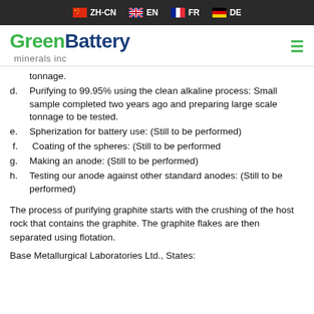ZH-CN  EN  FR  DE
[Figure (logo): GreenBattery minerals inc logo with hamburger menu icon]
tonnage.
d. Purifying to 99.95% using the clean alkaline process: Small sample completed two years ago and preparing large scale tonnage to be tested.
e. Spherization for battery use: (Still to be performed)
f. Coating of the spheres: (Still to be performed
g. Making an anode: (Still to be performed)
h. Testing our anode against other standard anodes: (Still to be performed)
The process of purifying graphite starts with the crushing of the host rock that contains the graphite. The graphite flakes are then separated using flotation.
Base Metallurgical Laboratories Ltd., States: